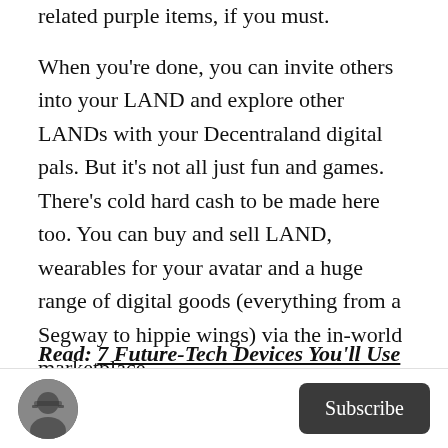related purple items, if you must.
When you're done, you can invite others into your LAND and explore other LANDs with your Decentraland digital pals. But it's not all just fun and games. There's cold hard cash to be made here too. You can buy and sell LAND, wearables for your avatar and a huge range of digital goods (everything from a Segway to hippie wings) via the in-world marketplace.
Read: 7 Future-Tech Devices You'll Use to Access the Metaverse
[Figure (photo): Circular avatar photo of a bearded man with glasses, black and white]